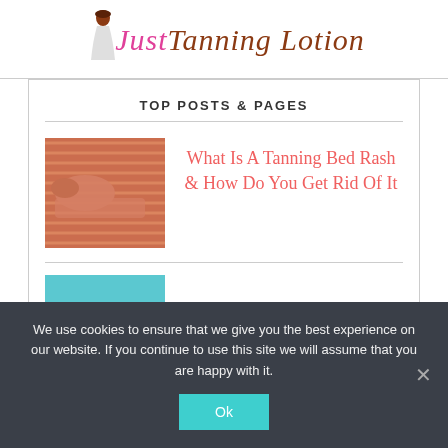[Figure (logo): Just Tanning Lotion website logo with a stylized figure and pink/brown script text]
TOP POSTS & PAGES
What Is A Tanning Bed Rash & How Do You Get Rid Of It
[Figure (photo): Woman lying in a tanning bed]
We use cookies to ensure that we give you the best experience on our website. If you continue to use this site we will assume that you are happy with it.